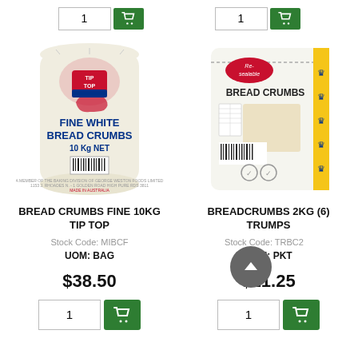[Figure (photo): Top partial view: quantity input showing '1' and green cart button, for left product]
[Figure (photo): Top partial view: quantity input showing '1' and green cart button, for right product]
[Figure (photo): Product image: Tip Top Fine White Bread Crumbs 10Kg NET bag]
[Figure (photo): Product image: Trumps Bread Crumbs 2KG resealable package]
BREAD CRUMBS FINE 10KG TIP TOP
Stock Code: MIBCF
UOM: BAG
$38.50
BREADCRUMBS 2KG (6) TRUMPS
Stock Code: TRBC2
UOM: PKT
$11.25